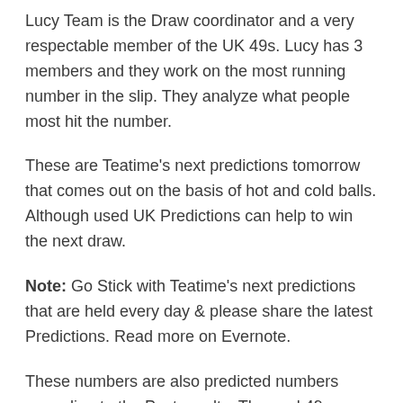Lucy Team is the Draw coordinator and a very respectable member of the UK 49s. Lucy has 3 members and they work on the most running number in the slip. They analyze what people most hit the number.
These are Teatime's next predictions tomorrow that comes out on the basis of hot and cold balls. Although used UK Predictions can help to win the next draw.
Note: Go Stick with Teatime's next predictions that are held every day & please share the latest Predictions. Read more on Evernote.
These numbers are also predicted numbers according to the Past results. These uk49 Teatime predictions are not 100% accurate. So, use our and your number to arrange a new own number. But note that our numbers are 80%